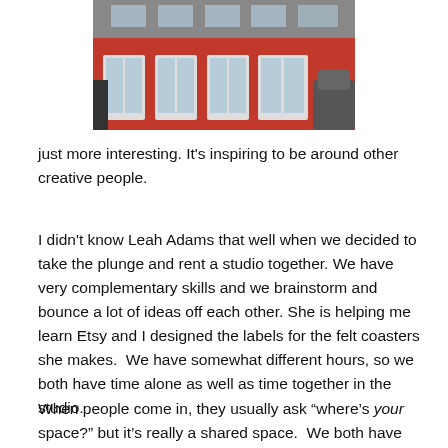[Figure (photo): Exterior photo of a red storefront building with multiple glass doors and windows]
just more interesting. It’s inspiring to be around other creative people.
I didn’t know Leah Adams that well when we decided to take the plunge and rent a studio together. We have very complementary skills and we brainstorm and bounce a lot of ideas off each other. She is helping me learn Etsy and I designed the labels for the felt coasters she makes.  We have somewhat different hours, so we both have time alone as well as time together in the studio.
When people come in, they usually ask “where’s your space?” but it’s really a shared space.  We both have work